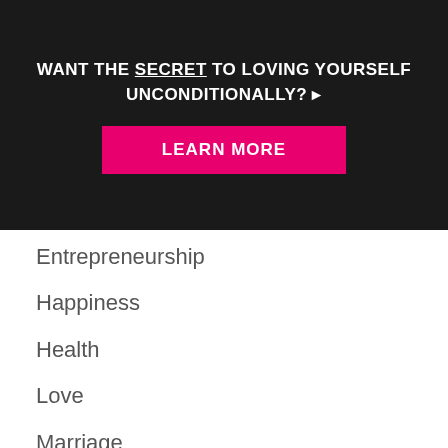[Figure (other): Dark banner overlay with promotional text and button: WANT THE SECRET TO LOVING YOURSELF UNCONDITIONALLY? with a pink LEARN MORE button]
Communication
Couples
Entrepreneurship
Happiness
Health
Love
Marriage
Money
Personal Stories
Productivity
Relationships